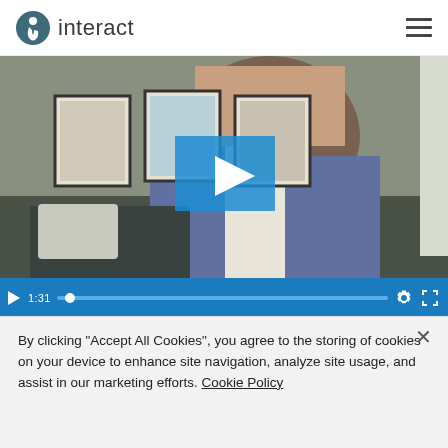[Figure (logo): Interact logo with stylized 'i' icon and text 'interact']
[Figure (screenshot): Video player showing a woman with long brown hair sitting in a room with framed magazine covers on the wall. Video has a blue play button overlay in the center. Controls bar shows 1:31 timestamp and progress bar.]
By clicking "Accept All Cookies", you agree to the storing of cookies on your device to enhance site navigation, analyze site usage, and assist in our marketing efforts. Cookie Policy